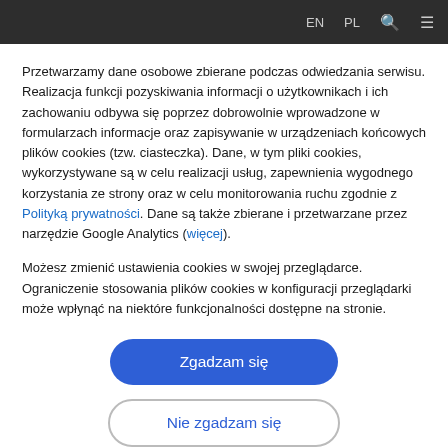EN  PL
Przetwarzamy dane osobowe zbierane podczas odwiedzania serwisu. Realizacja funkcji pozyskiwania informacji o użytkownikach i ich zachowaniu odbywa się poprzez dobrowolnie wprowadzone w formularzach informacje oraz zapisywanie w urządzeniach końcowych plików cookies (tzw. ciasteczka). Dane, w tym pliki cookies, wykorzystywane są w celu realizacji usług, zapewnienia wygodnego korzystania ze strony oraz w celu monitorowania ruchu zgodnie z Polityką prywatności. Dane są także zbierane i przetwarzane przez narzędzie Google Analytics (więcej).
Możesz zmienić ustawienia cookies w swojej przeglądarce. Ograniczenie stosowania plików cookies w konfiguracji przeglądarki może wpłynąć na niektóre funkcjonalności dostępne na stronie.
Zgadzam się
Nie zgadzam się